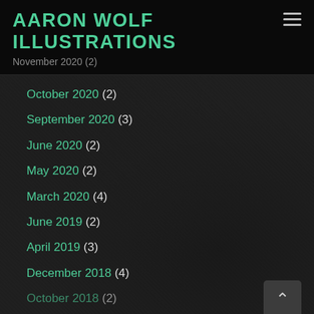AARON WOLF ILLUSTRATIONS
November 2020 (2)
October 2020 (2)
September 2020 (3)
June 2020 (2)
May 2020 (2)
March 2020 (4)
June 2019 (2)
April 2019 (3)
December 2018 (4)
October 2018 (2)